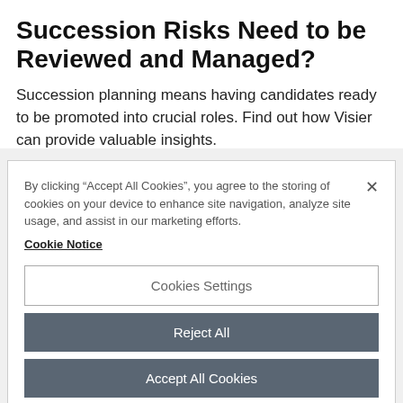Succession Risks Need to be Reviewed and Managed?
Succession planning means having candidates ready to be promoted into crucial roles. Find out how Visier can provide valuable insights.
By clicking “Accept All Cookies”, you agree to the storing of cookies on your device to enhance site navigation, analyze site usage, and assist in our marketing efforts.
Cookie Notice
Cookies Settings
Reject All
Accept All Cookies